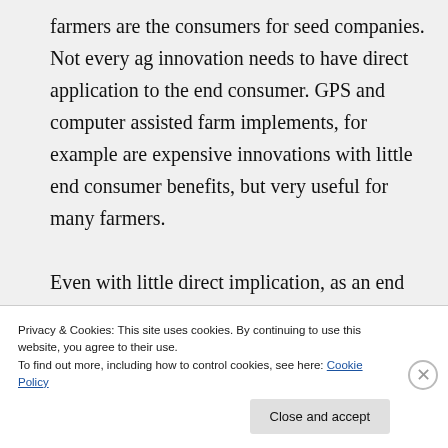farmers are the consumers for seed companies. Not every ag innovation needs to have direct application to the end consumer. GPS and computer assisted farm implements, for example are expensive innovations with little end consumer benefits, but very useful for many farmers.

Even with little direct implication, as an end consumer, I'll take less insecticide use with
Privacy & Cookies: This site uses cookies. By continuing to use this website, you agree to their use.
To find out more, including how to control cookies, see here: Cookie Policy